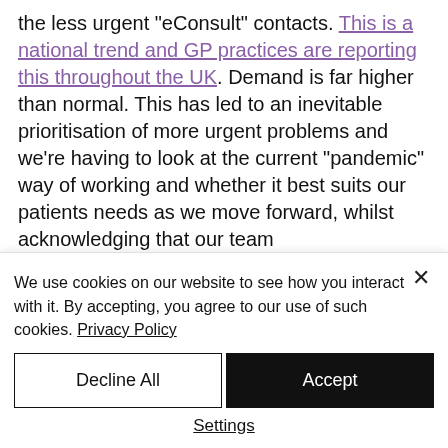the less urgent "eConsult" contacts. This is a national trend and GP practices are reporting this throughout the UK. Demand is far higher than normal. This has led to an inevitable prioritisation of more urgent problems and we're having to look at the current "pandemic" way of working and whether it best suits our patients needs as we move forward, whilst acknowledging that our team
We use cookies on our website to see how you interact with it. By accepting, you agree to our use of such cookies. Privacy Policy
Decline All
Accept
Settings